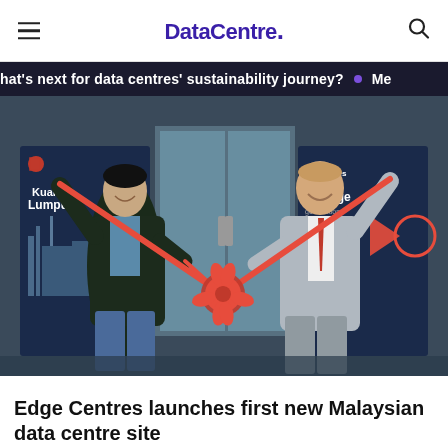DataCentre.
hat's next for data centres' sustainability journey? • Me
[Figure (photo): Two men in a ribbon-cutting ceremony at a data centre entrance. One man on the left in a dark jacket and jeans, and one on the right in a light grey suit with a red tie. They are holding red ribbons connected to a large red bow in the centre. Banners in the background show 'Kuala Lumpur' and 'al Edge Centres' branding.]
Edge Centres launches first new Malaysian data centre site